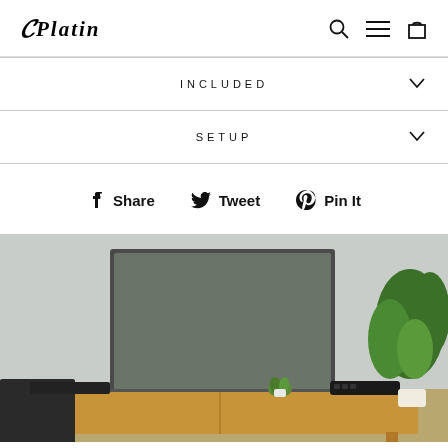Platin
INCLUDED
SETUP
Share  Tweet  Pin It
[Figure (photo): Living room scene with a flat-screen TV mounted on a gray wall, a wooden media console/sideboard with a soundbar and small speaker on top, a small potted plant on the console, and a large green leafy plant to the right. Subwoofer visible on the floor to the left.]